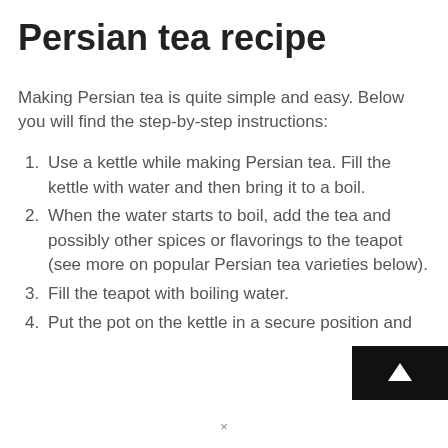Persian tea recipe
Making Persian tea is quite simple and easy. Below you will find the step-by-step instructions:
Use a kettle while making Persian tea. Fill the kettle with water and then bring it to a boil.
When the water starts to boil, add the tea and possibly other spices or flavorings to the teapot (see more on popular Persian tea varieties below).
Fill the teapot with boiling water.
Put the pot on the kettle in a secure position and